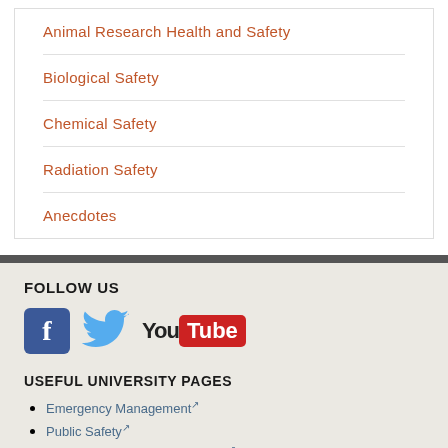Animal Research Health and Safety
Biological Safety
Chemical Safety
Radiation Safety
Anecdotes
FOLLOW US
[Figure (infographic): Social media icons: Facebook, Twitter, YouTube]
USEFUL UNIVERSITY PAGES
Emergency Management
Public Safety
Research Integrity & Assurance
Risk Management
University Health Services